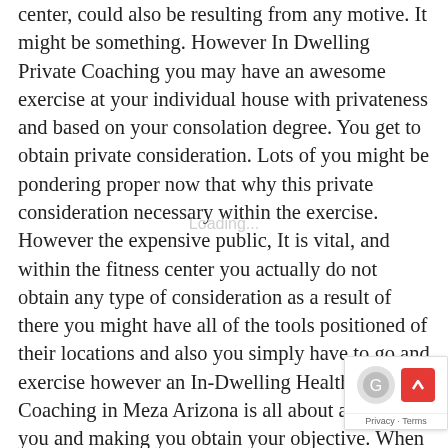center, could also be resulting from any motive. It might be something. However In Dwelling Private Coaching you may have an awesome exercise at your individual house with privateness and based on your consolation degree. You get to obtain private consideration. Lots of you might be pondering proper now that why this private consideration necessary within the exercise. However the expensive public, It is vital, and within the fitness center you actually do not obtain any type of consideration as a result of there you might have all of the tools positioned of their locations and also you simply have to go and exercise however an In-Dwelling Health Coaching in Meza Arizona is all about attending you and making you obtain your objective. When you might have this private coach with your self you may obtain your goal or motive with none distraction as a result of it has designed all of the exercises or packages particularly for you and based on your well-being. Now that you realize all the advantages concerning a private coach, I need you to learn about Everyfitbitaz group that's health oriented and its mission is to make you obtain your objective and being match and wholesome. To know extra about Private Coaching Mesa Arizona, please go to HERE: http://www.everyfitbitaz.com